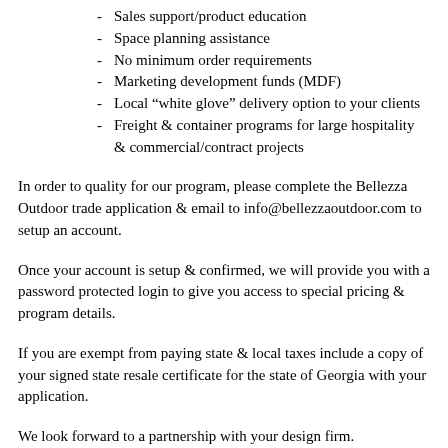Sales support/product education
Space planning assistance
No minimum order requirements
Marketing development funds (MDF)
Local “white glove” delivery option to your clients
Freight & container programs for large hospitality & commercial/contract projects
In order to quality for our program, please complete the Bellezza Outdoor trade application & email to info@bellezzaoutdoor.com to setup an account.
Once your account is setup & confirmed, we will provide you with a password protected login to give you access to special pricing & program details.
If you are exempt from paying state & local taxes include a copy of your signed state resale certificate for the state of Georgia with your application.
We look forward to a partnership with your design firm.